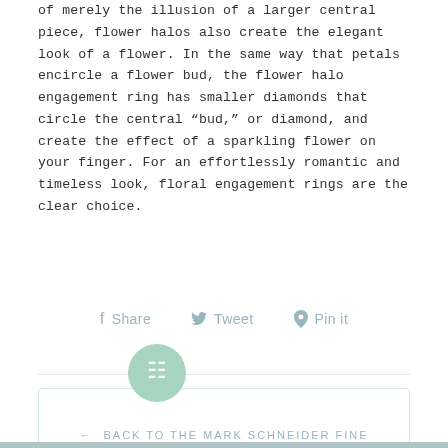of merely the illusion of a larger central piece, flower halos also create the elegant look of a flower. In the same way that petals encircle a flower bud, the flower halo engagement ring has smaller diamonds that circle the central “bud,” or diamond, and create the effect of a sparkling flower on your finger. For an effortlessly romantic and timeless look, floral engagement rings are the clear choice.
f Share   Tweet   Pin it
← BACK TO THE MARK SCHNEIDER FINE JEWELRY BLOG